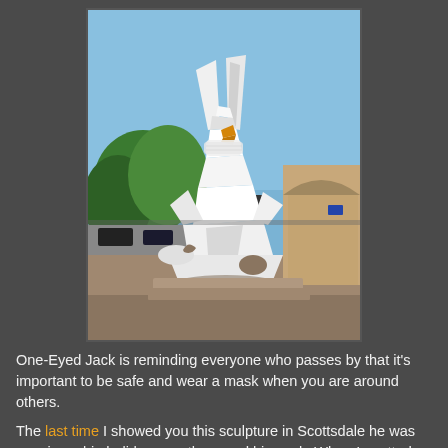[Figure (photo): A large white geometric rabbit sculpture (One-Eyed Jack) wearing a face mask, photographed outdoors in Scottsdale. The sculpture is angular and modern, sitting on a stone platform. Behind it are trees, cars, and a building with an arched entrance under a blue sky.]
One-Eyed Jack is reminding everyone who passes by that it's important to be safe and wear a mask when you are around others.
The last time I showed you this sculpture in Scottsdale he was wearing a big holiday wreath around his neck. When I spotted his new attire, I made a trip around the block so I could get a photo for the blog.